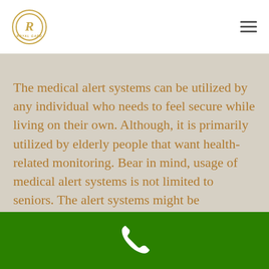Royal Gard logo and navigation menu
The medical alert systems can be utilized by any individual who needs to feel secure while living on their own. Although, it is primarily utilized by elderly people that want health-related monitoring. Bear in mind, usage of medical alert systems is not limited to seniors. The alert systems might be considered for anyone that requires a little additional peace of mind.
Phone contact bar